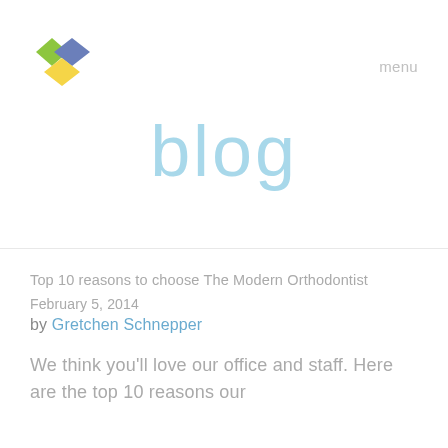[Figure (logo): Colorful diamond/rhombus logo made of four colored diamond shapes: green top-left, blue top-right, yellow bottom-left, overlapping in a heart-like arrangement]
menu
blog
Top 10 reasons to choose The Modern Orthodontist
February 5, 2014
by Gretchen Schnepper
We think you'll love our office and staff. Here are the top 10 reasons our